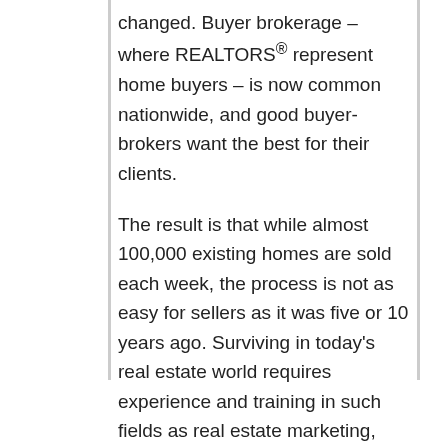changed. Buyer brokerage – where REALTORS® represent home buyers – is now common nationwide, and good buyer-brokers want the best for their clients.
The result is that while almost 100,000 existing homes are sold each week, the process is not as easy for sellers as it was five or 10 years ago. Surviving in today's real estate world requires experience and training in such fields as real estate marketing, financing, negotiation and closing – the very expertise available from your Realtor®.
Are you ready?
The home-selling process typically starts several